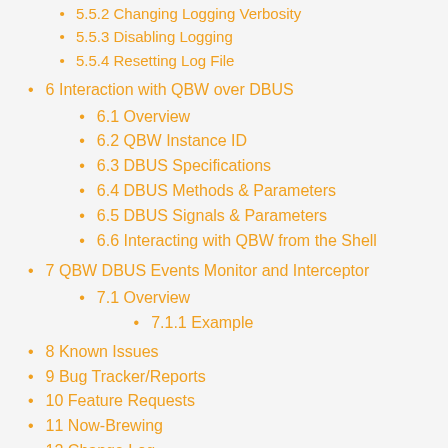5.5.2 Changing Logging Verbosity
5.5.3 Disabling Logging
5.5.4 Resetting Log File
6 Interaction with QBW over DBUS
6.1 Overview
6.2 QBW Instance ID
6.3 DBUS Specifications
6.4 DBUS Methods & Parameters
6.5 DBUS Signals & Parameters
6.6 Interacting with QBW from the Shell
7 QBW DBUS Events Monitor and Interceptor
7.1 Overview
7.1.1 Example
8 Known Issues
9 Bug Tracker/Reports
10 Feature Requests
11 Now-Brewing
12 Change Log
13 TODO list
14 HOW-TOs & FAQs